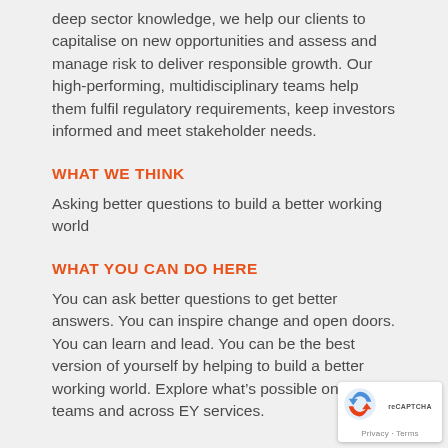deep sector knowledge, we help our clients to capitalise on new opportunities and assess and manage risk to deliver responsible growth. Our high-performing, multidisciplinary teams help them fulfil regulatory requirements, keep investors informed and meet stakeholder needs.
WHAT WE THINK
Asking better questions to build a better working world
WHAT YOU CAN DO HERE
You can ask better questions to get better answers. You can inspire change and open doors. You can learn and lead. You can be the best version of yourself by helping to build a better working world. Explore what’s possible on EY teams and across EY services.
WHAT IT’S LIKE TO WORK HERE